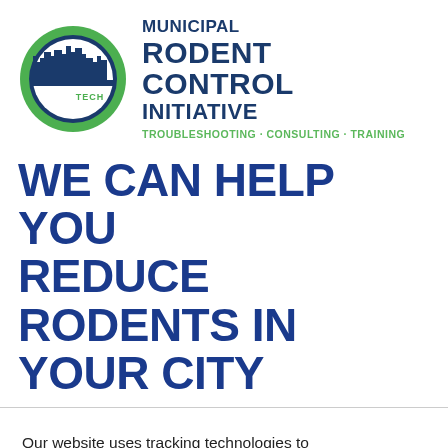[Figure (logo): LiphaTech Municipal Rodent Control Initiative logo with circular green and blue city skyline emblem on the left, and text 'MUNICIPAL RODENT CONTROL INITIATIVE' with tagline 'TROUBLESHOOTING · CONSULTING · TRAINING' on the right]
WE CAN HELP YOU REDUCE RODENTS IN YOUR CITY
Our website uses tracking technologies to learn how our visitors interact with our site so that we can improve our services and provide you with valuable content. Disable Tracking.
OK